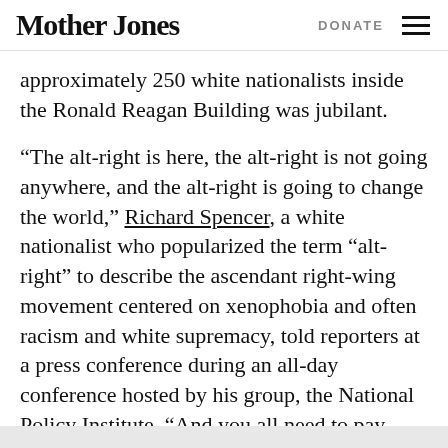Mother Jones | DONATE
approximately 250 white nationalists inside the Ronald Reagan Building was jubilant.
“The alt-right is here, the alt-right is not going anywhere, and the alt-right is going to change the world,” Richard Spencer, a white nationalist who popularized the term “alt-right” to describe the ascendant right-wing movement centered on xenophobia and often racism and white supremacy, told reporters at a press conference during an all-day conference hosted by his group, the National Policy Institute. “And you all need to pay attention to this.”